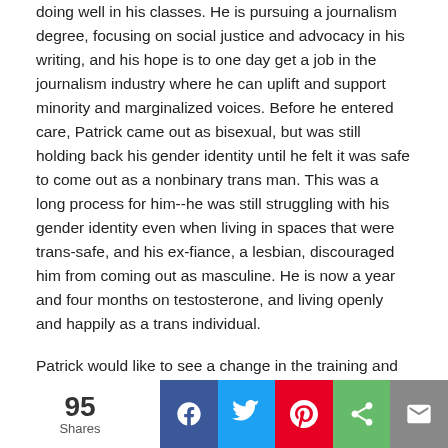doing well in his classes. He is pursuing a journalism degree, focusing on social justice and advocacy in his writing, and his hope is to one day get a job in the journalism industry where he can uplift and support minority and marginalized voices. Before he entered care, Patrick came out as bisexual, but was still holding back his gender identity until he felt it was safe to come out as a nonbinary trans man. This was a long process for him--he was still struggling with his gender identity even when living in spaces that were trans-safe, and his ex-fiance, a lesbian, discouraged him from coming out as masculine. He is now a year and four months on testosterone, and living openly and happily as a trans individual.
Patrick would like to see a change in the training and vetting process provided to foster parents, specifically around the topics of mental health and LGBTQ+ to ensure that youth aren't being placed in homophobic, transphobic, or ableist homes. He would also like caseworkers to receive training on ways to support LGBTQ+ youth, especially trans and nonbinary youth. He hopes that the caseworkers are able to create a safe space for youth where they are affirmed in
95 Shares | Facebook | Twitter | Pinterest | Share | Email